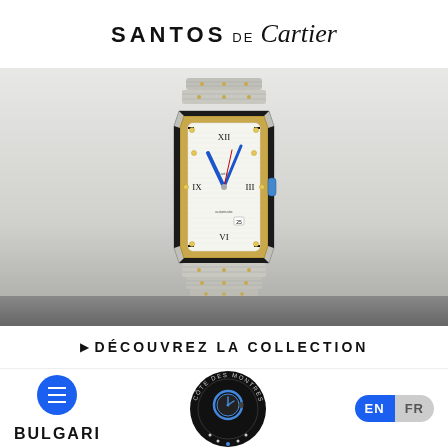SANTOS DE Cartier
[Figure (photo): Santos de Cartier watch with two-tone stainless steel and yellow gold case and bracelet, white dial with Roman numerals, blue sword-shaped hands, and exhibition shot on a gray gradient background]
▶ DÉCOUVREZ LA COLLECTION
[Figure (logo): Côte des Montres circular logo with a watch face graphic in the center, surrounded by text 'CÔTE DES MONTRES']
BULGARI
EN FR